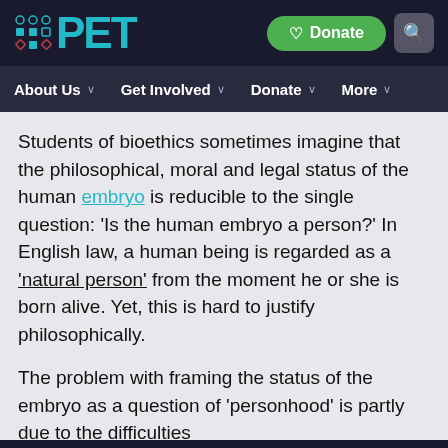PET — Donate | Search
About Us | Get Involved | Donate | More
Students of bioethics sometimes imagine that the philosophical, moral and legal status of the human embryo is reducible to the single question: 'Is the human embryo a person?' In English law, a human being is regarded as a 'natural person' from the moment he or she is born alive. Yet, this is hard to justify philosophically.
The problem with framing the status of the embryo as a question of 'personhood' is partly due to the difficulties
Your choice regarding cookies on this site